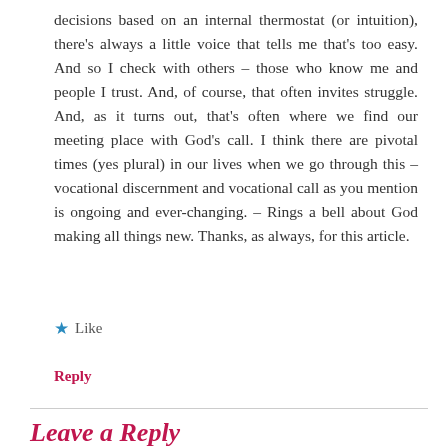decisions based on an internal thermostat (or intuition), there's always a little voice that tells me that's too easy. And so I check with others – those who know me and people I trust. And, of course, that often invites struggle. And, as it turns out, that's often where we find our meeting place with God's call. I think there are pivotal times (yes plural) in our lives when we go through this – vocational discernment and vocational call as you mention is ongoing and ever-changing. – Rings a bell about God making all things new. Thanks, as always, for this article.
★ Like
Reply
Leave a Reply